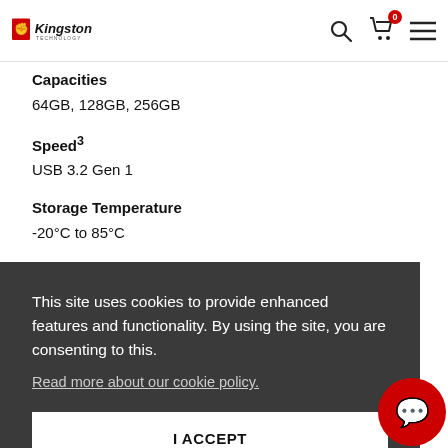[Figure (screenshot): Kingston Technology logo in top-left navigation bar with search, cart, and menu icons on the right]
Capacities
64GB, 128GB, 256GB
Speed³
USB 3.2 Gen 1
Storage Temperature
-20°C to 85°C
This site uses cookies to provide enhanced features and functionality. By using the site, you are consenting to this.
Read more about our cookie policy.
I ACCEPT
A Flash Drive